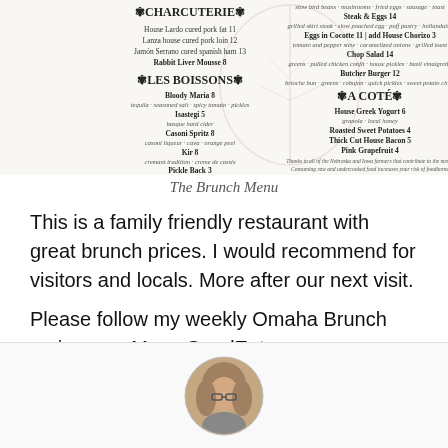[Figure (photo): Image of a restaurant brunch menu showing sections: Charcuterie, Les Boissons, A Coté, with items and prices listed in decorative script font]
The Brunch Menu
This is a family friendly restaurant with great brunch prices. I would recommend for visitors and locals. More after our next visit.
Please follow my weekly Omaha Brunch reviews on MomsGoodEats.
[Figure (photo): Circular portrait photo of a woman with shoulder-length blonde hair and glasses]